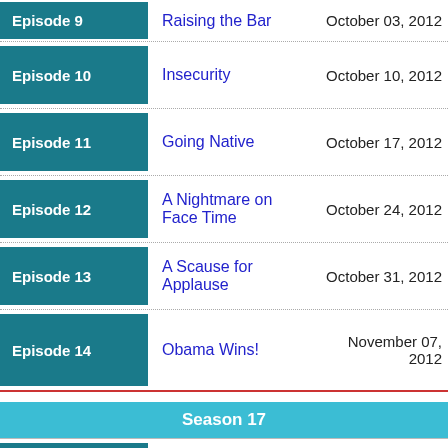| Episode | Title | Air Date |
| --- | --- | --- |
| Episode 9 | Raising the Bar | October 03, 2012 |
| Episode 10 | Insecurity | October 10, 2012 |
| Episode 11 | Going Native | October 17, 2012 |
| Episode 12 | A Nightmare on Face Time | October 24, 2012 |
| Episode 13 | A Scause for Applause | October 31, 2012 |
| Episode 14 | Obama Wins! | November 07, 2012 |
Season 17
| Episode | Title | Air Date |
| --- | --- | --- |
| Episode 0 | Episode 0 |  |